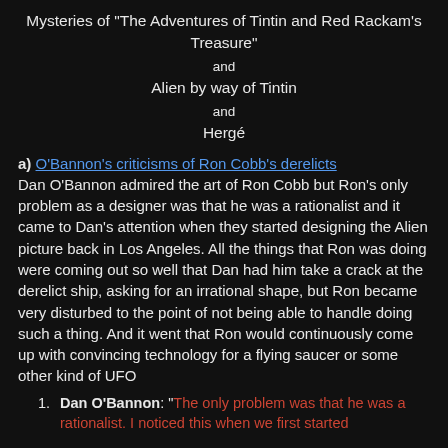Mysteries of "The Adventures of Tintin and Red Rackam's Treasure"
and
Alien by way of Tintin
and
Hergé
a) O'Bannon's criticisms of Ron Cobb's derelicts
Dan O'Bannon admired the art of Ron Cobb but Ron's only problem as a designer was that he was a rationalist and it came to Dan's attention when they started designing the Alien picture back in Los Angeles. All the things that Ron was doing were coming out so well that Dan had him take a crack at the derelict ship, asking for an irrational shape, but Ron became very disturbed to the point of not being able to handle doing such a thing. And it went that Ron would continuously come up with convincing technology for a flying saucer or some other kind of UFO
Dan O'Bannon: "The only problem was that he was a rationalist. I noticed this when we first started